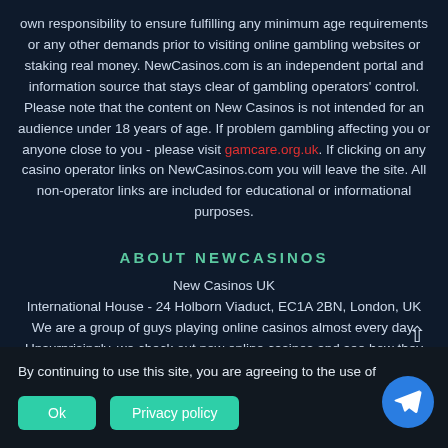own responsibility to ensure fulfilling any minimum age requirements or any other demands prior to visiting online gambling websites or staking real money. NewCasinos.com is an independent portal and information source that stays clear of gambling operators' control. Please note that the content on New Casinos is not intended for an audience under 18 years of age. If problem gambling affecting you or anyone close to you - please visit gamcare.org.uk. If clicking on any casino operator links on NewCasinos.com you will leave the site. All non-operator links are included for educational or informational purposes.
ABOUT NEWCASINOS
New Casinos UK
International House - 24 Holborn Viaduct, EC1A 2BN, London, UK
We are a group of guys playing online casinos almost every day. Unsurprisingly, we check out new online casinos and see how they are. Here you'll find honest and up-to-date reviews of a latest online casinos in the UK and the rest of the EU. COOKIE AND PRIVACY POLICY
By continuing to use this site, you are agreeing to the use of